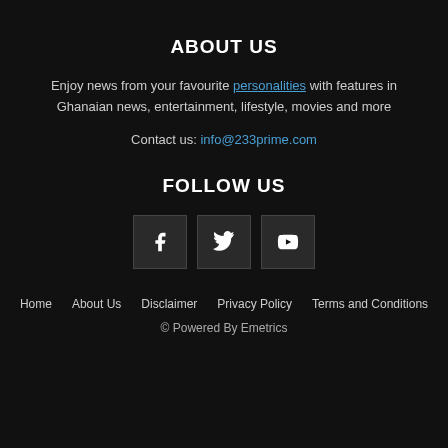ABOUT US
Enjoy news from your favourite personalities with features in Ghanaian news, entertainment, lifestyle, movies and more
Contact us: info@233prime.com
FOLLOW US
[Figure (other): Three social media icon buttons: Facebook (f), Twitter (bird), YouTube (play button)]
Home About Us Disclaimer Privacy Policy Terms and Conditions
© Powered By Emetrics